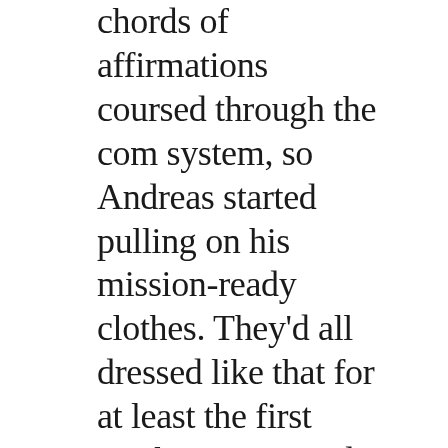chords of affirmations coursed through the com system, so Andreas started pulling on his mission-ready clothes. They'd all dressed like that for at least the first week out, covered from